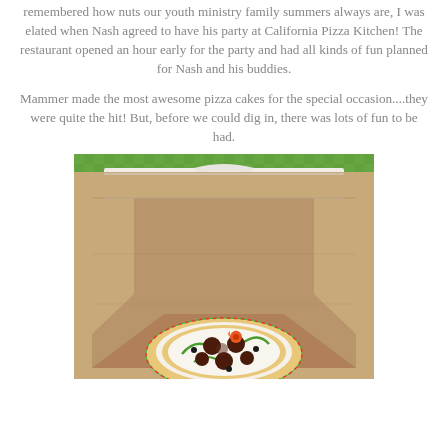remembered how nuts our youth ministry family summers always are, I was elated when Nash agreed to have his party at California Pizza Kitchen! The restaurant opened an hour early for the party and had all kinds of fun planned for Nash and his buddies.
Mammer made the most awesome pizza cakes for the special occasion....they were quite the hit! But, before we could dig in, there was lots of fun to be had.
[Figure (photo): A pizza-shaped cake decorated with colorful toppings (dark chocolate circles resembling pepperoni, green and red decorations) sitting inside an open cardboard pizza box, viewed from above. The box is open and the cake is partially visible at the bottom of the frame.]